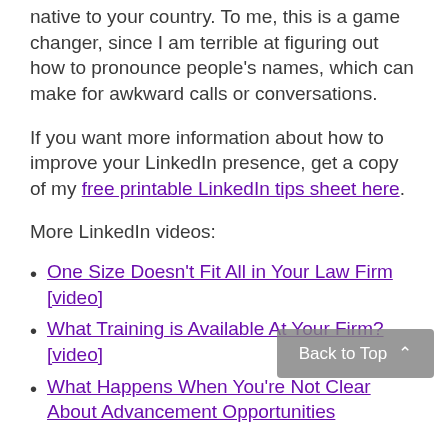native to your country. To me, this is a game changer, since I am terrible at figuring out how to pronounce people’s names, which can make for awkward calls or conversations.
If you want more information about how to improve your LinkedIn presence, get a copy of my free printable LinkedIn tips sheet here.
More LinkedIn videos:
One Size Doesn’t Fit All in Your Law Firm [video]
What Training is Available At Your Firm? [video]
What Happens When You’re Not Clear About Advancement Opportunities